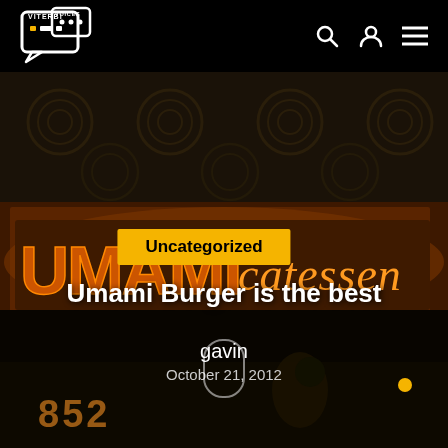Viterbi Voices
[Figure (photo): Night-time exterior photo of Umami Burger catessen restaurant with illuminated orange neon sign on a dark stone building facade]
Uncategorized
Umami Burger is the best
gavin
October 21, 2012